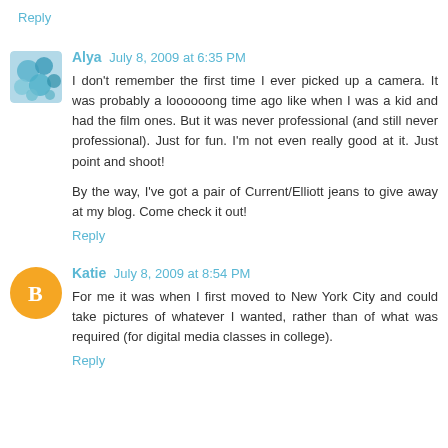Reply
Alya July 8, 2009 at 6:35 PM
I don't remember the first time I ever picked up a camera. It was probably a loooooong time ago like when I was a kid and had the film ones. But it was never professional (and still never professional). Just for fun. I'm not even really good at it. Just point and shoot!
By the way, I've got a pair of Current/Elliott jeans to give away at my blog. Come check it out!
Reply
Katie July 8, 2009 at 8:54 PM
For me it was when I first moved to New York City and could take pictures of whatever I wanted, rather than of what was required (for digital media classes in college).
Reply